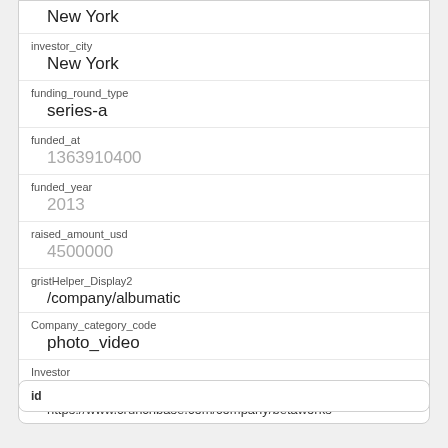New York
investor_city
New York
funding_round_type
series-a
funded_at
1363910400
funded_year
2013
raised_amount_usd
4500000
gristHelper_Display2
/company/albumatic
Company_category_code
photo_video
Investor
betaworks
https://www.crunchbase.com/company/betaworks
id